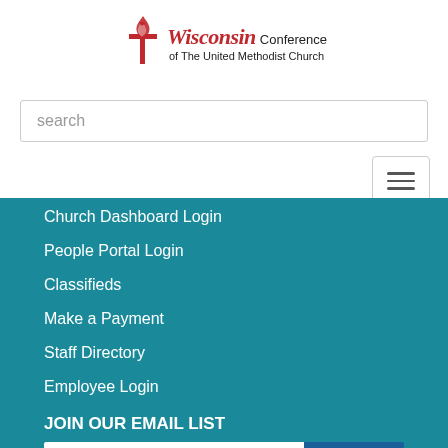[Figure (logo): Wisconsin Conference of The United Methodist Church logo with cross and flame icon, Wisconsin in red italic script]
search
[Figure (other): Hamburger menu button with three horizontal lines]
Church Dashboard Login
People Portal Login
Classifieds
Make a Payment
Staff Directory
Employee Login
JOIN OUR EMAIL LIST
enter your email address
Subscribe